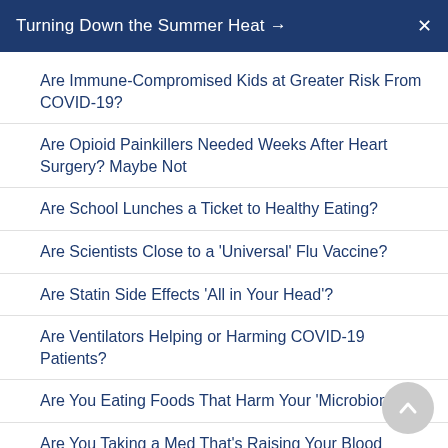Turning Down the Summer Heat →  ✕
Are Immune-Compromised Kids at Greater Risk From COVID-19?
Are Opioid Painkillers Needed Weeks After Heart Surgery? Maybe Not
Are School Lunches a Ticket to Healthy Eating?
Are Scientists Close to a 'Universal' Flu Vaccine?
Are Statin Side Effects 'All in Your Head'?
Are Ventilators Helping or Harming COVID-19 Patients?
Are You Eating Foods That Harm Your 'Microbiome'?
Are You Taking a Med That's Raising Your Blood Pressure?
Are Your Symptoms From COVID-19 or Seasonal Allergies?
Arm Squeezes With Blood Pressure Cuffs Might Aid